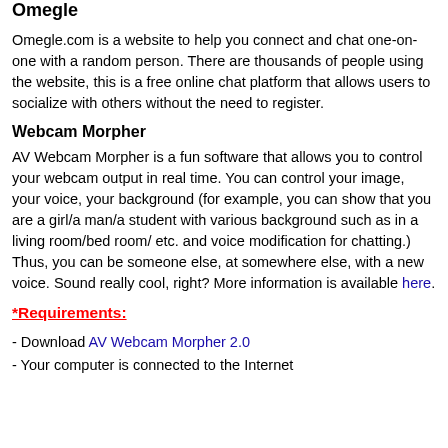Omegle
Omegle.com is a website to help you connect and chat one-on-one with a random person. There are thousands of people using the website, this is a free online chat platform that allows users to socialize with others without the need to register.
Webcam Morpher
AV Webcam Morpher is a fun software that allows you to control your webcam output in real time. You can control your image, your voice, your background (for example, you can show that you are a girl/a man/a student with various background such as in a living room/bed room/ etc. and voice modification for chatting.) Thus, you can be someone else, at somewhere else, with a new voice. Sound really cool, right? More information is available here.
*Requirements:
- Download AV Webcam Morpher 2.0
- Your computer is connected to the Internet